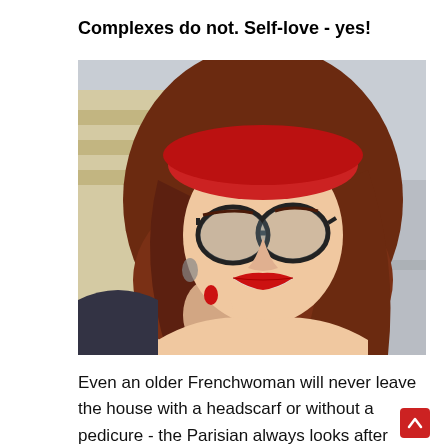Complexes do not. Self-love - yes!
[Figure (photo): A smiling young woman with long red wavy hair, wearing a red beret, round black-framed glasses, and red lipstick, photographed outdoors on a city street.]
Even an older Frenchwoman will never leave the house with a headscarf or without a pedicure - the Parisian always looks after herself - at any age and in any weather. Local beauties even believe that after